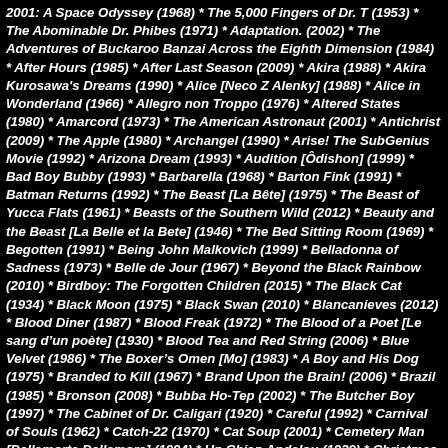2001: A Space Odyssey (1968) * The 5,000 Fingers of Dr. T (1953) * The Abominable Dr. Phibes (1971) * Adaptation. (2002) * The Adventures of Buckaroo Banzai Across the Eighth Dimension (1984) * After Hours (1985) * After Last Season (2009) * Akira (1988) * Akira Kurosawa's Dreams (1990) * Alice [Neco Z Alenky] (1988) * Alice in Wonderland (1966) * Allegro non Troppo (1976) * Altered States (1980) * Amarcord (1973) * The American Astronaut (2001) * Antichrist (2009) * The Apple (1980) * Archangel (1990) * Arise! The SubGenius Movie (1992) * Arizona Dream (1993) * Audition [Ôdishon] (1999) * Bad Boy Bubby (1993) * Barbarella (1968) * Barton Fink (1991) * Batman Returns (1992) * The Beast [La Bête] (1975) * The Beast of Yucca Flats (1961) * Beasts of the Southern Wild (2012) * Beauty and the Beast [La Belle et la Bete] (1946) * The Bed Sitting Room (1969) * Begotten (1991) * Being John Malkovich (1999) * Belladonna of Sadness (1973) * Belle de Jour (1967) * Beyond the Black Rainbow (2010) * Birdboy: The Forgotten Children (2015) * The Black Cat (1934) * Black Moon (1975) * Black Swan (2010) * Blancanieves (2012) * Blood Diner (1987) * Blood Freak (1972) * The Blood of a Poet [Le sang d'un poète] (1930) * Blood Tea and Red String (2006) * Blue Velvet (1986) * The Boxer's Omen [Mo] (1983) * A Boy and His Dog (1975) * Branded to Kill (1967) * Brand Upon the Brain! (2006) * Brazil (1985) * Bronson (2008) * Bubba Ho-Tep (2002) * The Butcher Boy (1997) * The Cabinet of Dr. Caligari (1920) * Careful (1992) * Carnival of Souls (1962) * Catch-22 (1970) * Cat Soup (2001) * Cemetery Man [Dellamorte Dellamore] (1994) * Un Chien Andalou (1929) * Christmas on Mars (2008) * The City of Lost Children [La cité des enfants perdus] (1995) * City of Women (1980) *